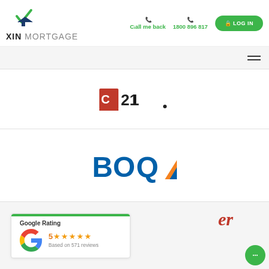[Figure (logo): XIN Mortgage logo with green checkmark and house icon]
Call me back
1800 896 817
LOG IN
[Figure (logo): Century 21 real estate logo (partial/cropped)]
[Figure (logo): BOQ (Bank of Queensland) logo with blue triangle]
[Figure (other): Google Rating widget: 5 stars, Based on 571 reviews]